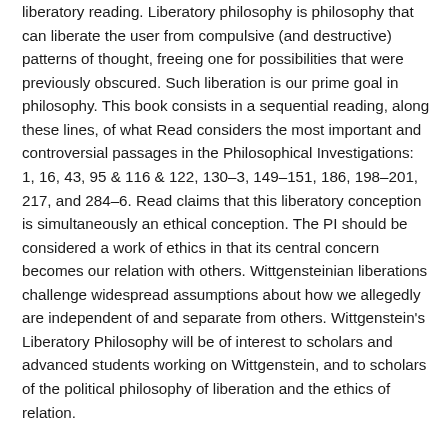liberatory reading. Liberatory philosophy is philosophy that can liberate the user from compulsive (and destructive) patterns of thought, freeing one for possibilities that were previously obscured. Such liberation is our prime goal in philosophy. This book consists in a sequential reading, along these lines, of what Read considers the most important and controversial passages in the Philosophical Investigations: 1, 16, 43, 95 & 116 & 122, 130–3, 149–151, 186, 198–201, 217, and 284–6. Read claims that this liberatory conception is simultaneously an ethical conception. The PI should be considered a work of ethics in that its central concern becomes our relation with others. Wittgensteinian liberations challenge widespread assumptions about how we allegedly are independent of and separate from others. Wittgenstein's Liberatory Philosophy will be of interest to scholars and advanced students working on Wittgenstein, and to scholars of the political philosophy of liberation and the ethics of relation.